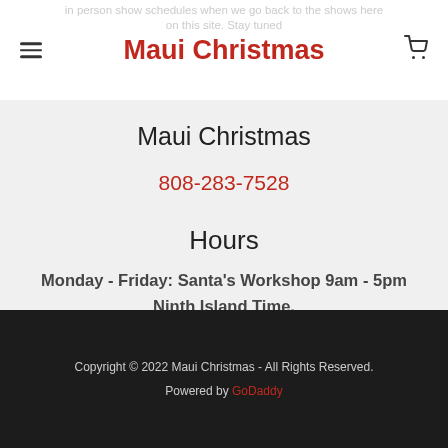Maui Christmas
Maui Christmas
808-283-7528
Hours
Monday - Friday: Santa's Workshop 9am - 5pm Ninth Island Time.
Copyright © 2022 Maui Christmas - All Rights Reserved. Powered by GoDaddy